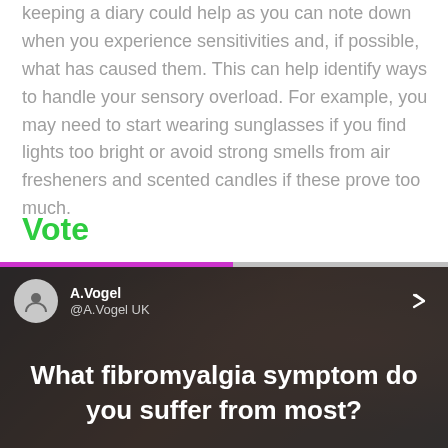keeping a diary could help as you can note down when you experience sensitivities and, if possible, what has caused them. This can help identify ways to handle your sensory overload. For example, you may need to start wearing sunglasses if you find lights too bright or avoid strong smells from air fresheners and scented candles if these prove too much.
Vote
[Figure (screenshot): A Twitter/social media poll post from A.Vogel (@A.Vogel UK) asking 'What fibromyalgia symptom do you suffer from most?' shown as a video thumbnail with a progress bar at the top (purple fill ~52%, grey remainder).]